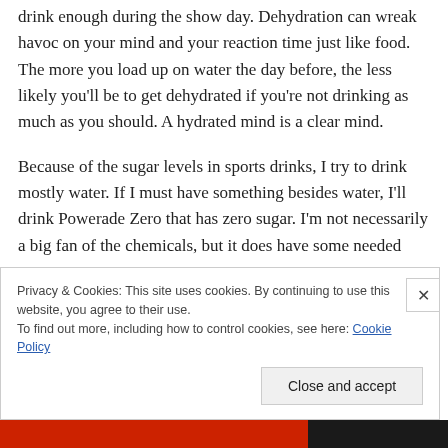drink enough during the show day. Dehydration can wreak havoc on your mind and your reaction time just like food. The more you load up on water the day before, the less likely you'll be to get dehydrated if you're not drinking as much as you should. A hydrated mind is a clear mind.
Because of the sugar levels in sports drinks, I try to drink mostly water. If I must have something besides water, I'll drink Powerade Zero that has zero sugar. I'm not necessarily a big fan of the chemicals, but it does have some needed
Privacy & Cookies: This site uses cookies. By continuing to use this website, you agree to their use.
To find out more, including how to control cookies, see here: Cookie Policy